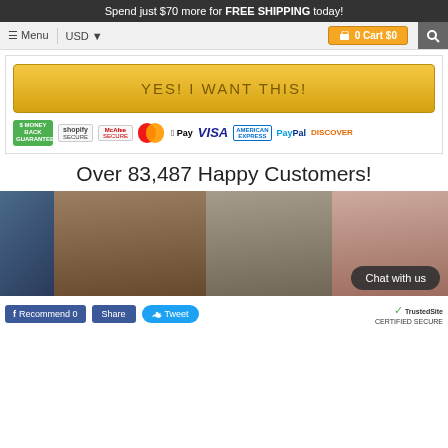Spend just $70 more for FREE SHIPPING today!
≡ Menu  USD ▼  🛒 0 Cart $0
YES! I WANT THIS!
[Figure (infographic): Trust badges: Money Back Guarantee, Shopify Secure, McAfee Secure, MasterCard, Apple Pay, VISA, American Express, PayPal, Discover]
Over 83,487 Happy Customers!
[Figure (photo): Three customer photos showing happy customers and before/after weight loss results]
Chat with us
👍 Recommend 0   Share   🐦 Tweet   TrustedSite CERTIFIED SECURE